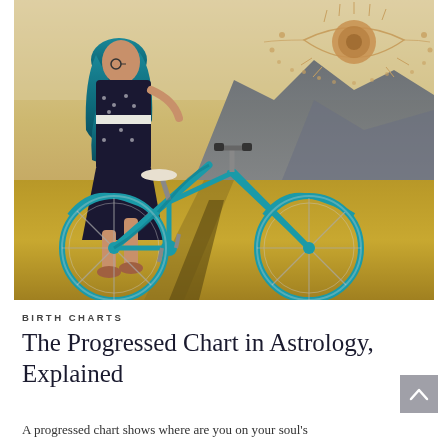[Figure (photo): Woman with blue hair riding a teal/turquoise cruiser bicycle on a grassy field with mountains in background. An illustrated mystic eye with gold/bronze decorative dots overlays the upper right of the photo.]
BIRTH CHARTS
The Progressed Chart in Astrology, Explained
A progressed chart shows where are you on your soul's